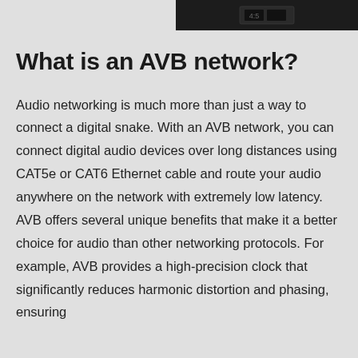[Figure (photo): Partial view of a black electronic audio device, cropped at the top-right corner of the page]
What is an AVB network?
Audio networking is much more than just a way to connect a digital snake. With an AVB network, you can connect digital audio devices over long distances using CAT5e or CAT6 Ethernet cable and route your audio anywhere on the network with extremely low latency. AVB offers several unique benefits that make it a better choice for audio than other networking protocols. For example, AVB provides a high-precision clock that significantly reduces harmonic distortion and phasing, ensuring